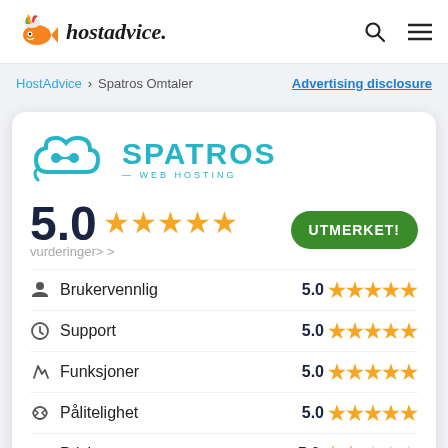hostadvice.
HostAdvice > Spatros Omtaler   Advertising disclosure
[Figure (logo): Spatros Web Hosting logo with cloud icon in teal and the text SPATROS WEB HOSTING]
5.0 ★★★★★ vurderinger> >   UTMERKET!
| Kategori | Score | Stjerner |
| --- | --- | --- |
| Brukervennlig | 5.0 | ★★★★★ |
| Support | 5.0 | ★★★★★ |
| Funksjoner | 5.0 | ★★★★★ |
| Pålitelighet | 5.0 | ★★★★★ |
| Prising | 5.0 | ★★★★★ |